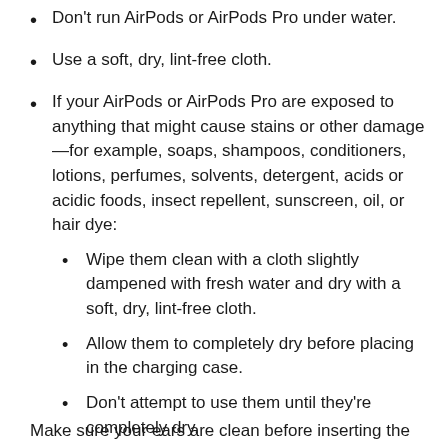Don't run AirPods or AirPods Pro under water.
Use a soft, dry, lint-free cloth.
If your AirPods or AirPods Pro are exposed to anything that might cause stains or other damage—for example, soaps, shampoos, conditioners, lotions, perfumes, solvents, detergent, acids or acidic foods, insect repellent, sunscreen, oil, or hair dye:
Wipe them clean with a cloth slightly dampened with fresh water and dry with a soft, dry, lint-free cloth.
Allow them to completely dry before placing in the charging case.
Don't attempt to use them until they're completely dry.
Make sure your ears are clean before inserting the